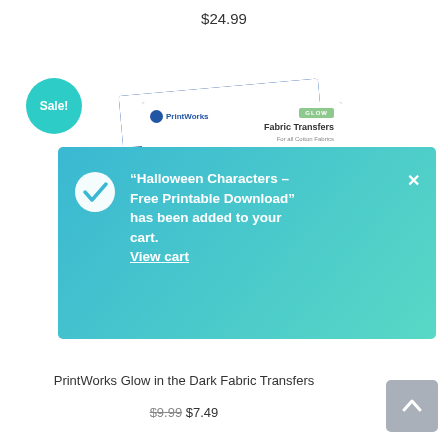$24.99
[Figure (illustration): Sale badge (teal circle) and PrintWorks Glow in the Dark Fabric Transfers product package with blue packaging, GLOW label, showing 4 Sheets. An overlay notification box with gradient teal background shows a checkmark, message about Halloween Characters Free Printable Download being added to cart, and a View cart link with a close X button.]
PrintWorks Glow in the Dark Fabric Transfers
$9.99 $7.49